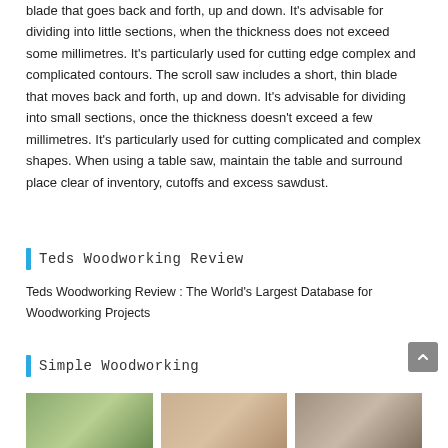blade that goes back and forth, up and down. It's advisable for dividing into little sections, when the thickness does not exceed some millimetres. It's particularly used for cutting edge complex and complicated contours. The scroll saw includes a short, thin blade that moves back and forth, up and down. It's advisable for dividing into small sections, once the thickness doesn't exceed a few millimetres. It's particularly used for cutting complicated and complex shapes. When using a table saw, maintain the table and surround place clear of inventory, cutoffs and excess sawdust.
Teds Woodworking Review
Teds Woodworking Review : The World's Largest Database for Woodworking Projects
Simple Woodworking
[Figure (photo): Three partially visible woodworking project photos shown at the bottom of the page]